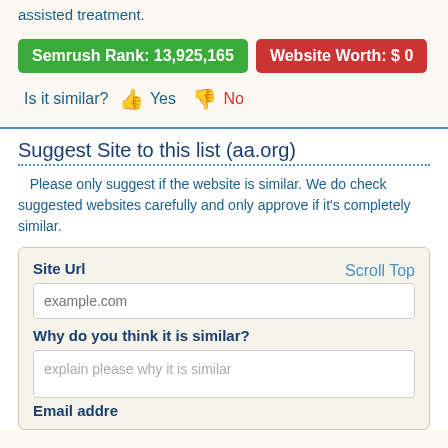assisted treatment.
Semrush Rank: 13,925,165   Website Worth: $ 0
Is it similar? 👍 Yes 👎 No
Suggest Site to this list (aa.org)
Please only suggest if the website is similar. We do check suggested websites carefully and only approve if it's completely similar.
Site Url
Scroll Top
example.com
Why do you think it is similar?
explain please why it is similar
Email address